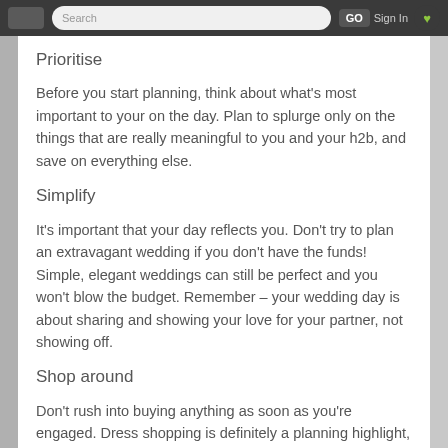Search GO Sign In
Prioritise
Before you start planning, think about what's most important to your on the day. Plan to splurge only on the things that are really meaningful to you and your h2b, and save on everything else.
Simplify
It's important that your day reflects you. Don't try to plan an extravagant wedding if you don't have the funds! Simple, elegant weddings can still be perfect and you won't blow the budget. Remember – your wedding day is about sharing and showing your love for your partner, not showing off.
Shop around
Don't rush into buying anything as soon as you're engaged. Dress shopping is definitely a planning highlight, and it's so easy to get carried away and end up buying the first dress you fall in love with. Make sure you keep your eyes peeled for the best offers and get an idea of different styles that are available. Likewise, get several quotes to make sure you're getting the best price and research carefully so you don't